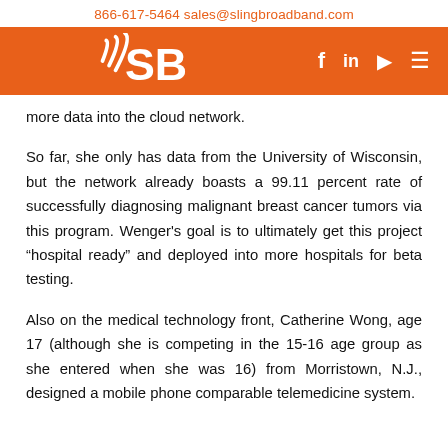866-617-5464    sales@slingbroadband.com
[Figure (logo): Sling Broadband logo with SB letters and signal wave icon on orange banner, with social media icons (Facebook, LinkedIn, YouTube, menu) on the right]
more data into the cloud network.
So far, she only has data from the University of Wisconsin, but the network already boasts a 99.11 percent rate of successfully diagnosing malignant breast cancer tumors via this program. Wenger’s goal is to ultimately get this project “hospital ready” and deployed into more hospitals for beta testing.
Also on the medical technology front, Catherine Wong, age 17 (although she is competing in the 15-16 age group as she entered when she was 16) from Morristown, N.J., designed a mobile phone comparable telemedicine system.